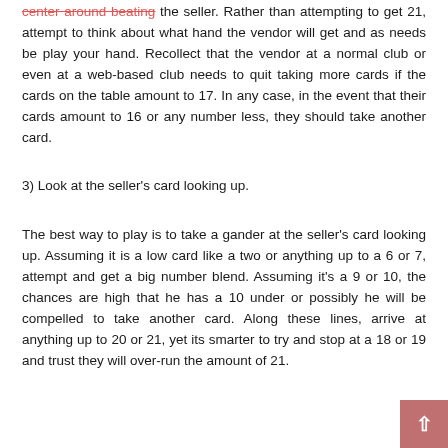center around beating the seller. Rather than attempting to get 21, attempt to think about what hand the vendor will get and as needs be play your hand. Recollect that the vendor at a normal club or even at a web-based club needs to quit taking more cards if the cards on the table amount to 17. In any case, in the event that their cards amount to 16 or any number less, they should take another card.
3) Look at the seller's card looking up.
The best way to play is to take a gander at the seller's card looking up. Assuming it is a low card like a two or anything up to a 6 or 7, attempt and get a big number blend. Assuming it's a 9 or 10, the chances are high that he has a 10 under or possibly he will be compelled to take another card. Along these lines, arrive at anything up to 20 or 21, yet its smarter to try and stop at a 18 or 19 and trust they will over-run the amount of 21.